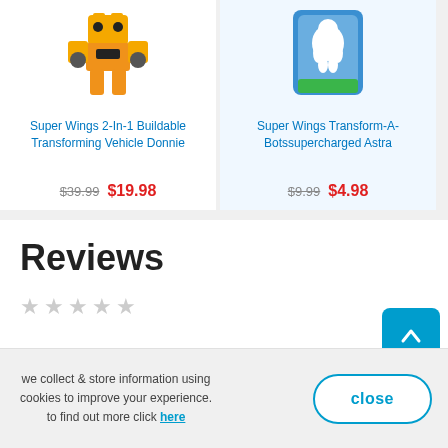[Figure (photo): Yellow robot transformer toy (Super Wings Donnie)]
Super Wings 2-In-1 Buildable Transforming Vehicle Donnie
$39.99  $19.98
[Figure (photo): Blue packaged Super Wings Astra figure toy]
Super Wings Transform-A-Botssupercharged Astra
$9.99  $4.98
Reviews
★★★★★ (empty stars rating)
we collect & store information using cookies to improve your experience. to find out more click here